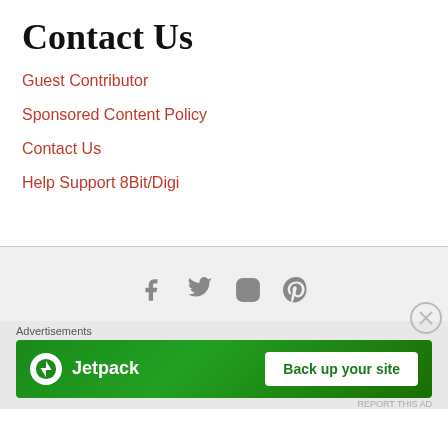Contact Us
Guest Contributor
Sponsored Content Policy
Contact Us
Help Support 8Bit/Digi
[Figure (infographic): Social media icons: Facebook, Twitter, Instagram, Pinterest in gray]
[Figure (infographic): Jetpack advertisement banner: Jetpack logo on green background with 'Back up your site' button]